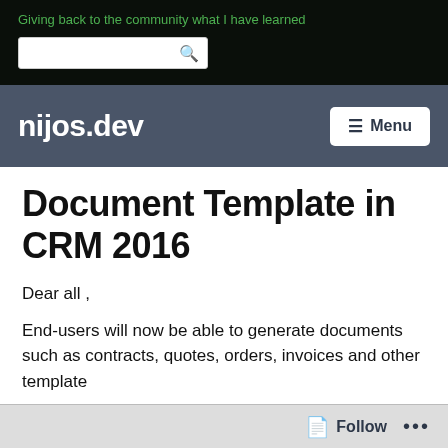Giving back to the community what I have learned
nijos.dev
Document Template in CRM 2016
Dear all ,
End-users will now be able to generate documents such as contracts, quotes, orders, invoices and other template